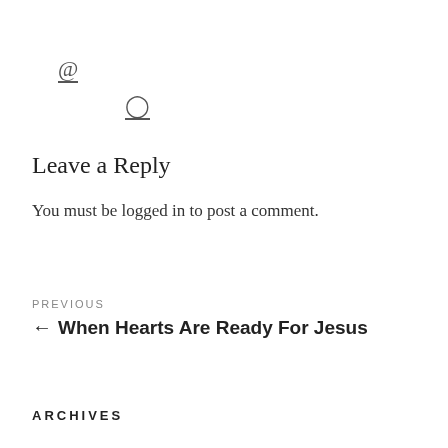[Figure (other): @ icon with underline]
[Figure (other): Clock/time icon with underline]
Leave a Reply
You must be logged in to post a comment.
PREVIOUS
← When Hearts Are Ready For Jesus
ARCHIVES